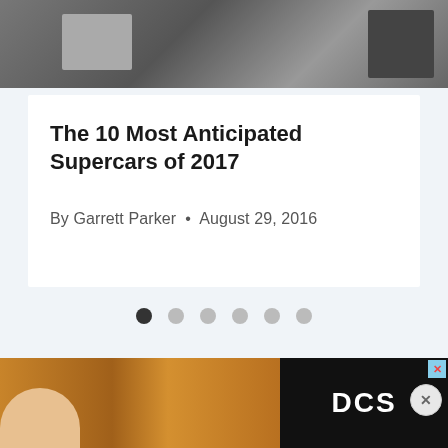[Figure (photo): Dark grey photo banner at the top of a webpage showing partial supercar image with a small grey box on left and dark element on right]
The 10 Most Anticipated Supercars of 2017
By Garrett Parker • August 29, 2016
[Figure (other): Carousel navigation dots — 6 dots, first one dark/active, rest light grey]
[Figure (photo): Advertisement banner at bottom showing a food photo (baked items on tray) on the left and a DCS logo on dark background on the right, with a close X button]